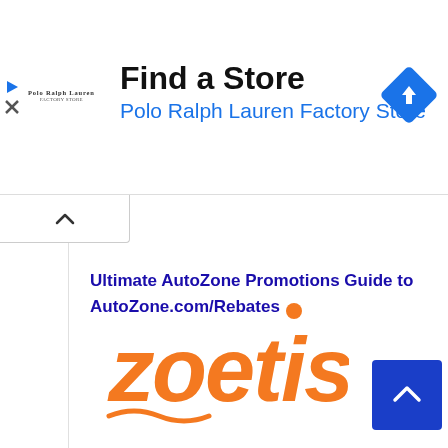[Figure (screenshot): Ad banner for Polo Ralph Lauren Factory Store with 'Find a Store' heading, store name in blue, a small Polo Ralph Lauren logo, a blue navigation/directions diamond icon, and left-side play and close icons.]
Ultimate AutoZone Promotions Guide to AutoZone.com/Rebates
[Figure (logo): Zoetis logo in orange with stylized italic lowercase text 'zoetis' and a small orange dot above the letter i.]